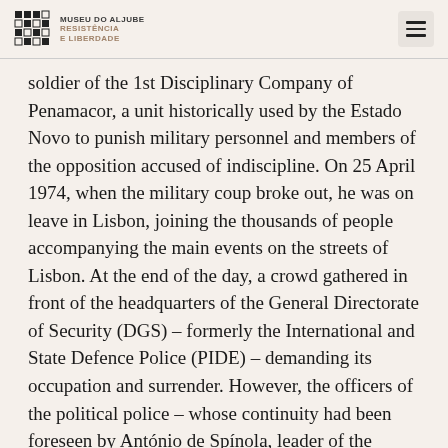MUSEU DO ALJUBE RESISTÊNCIA E LIBERDADE
soldier of the 1st Disciplinary Company of Penamacor, a unit historically used by the Estado Novo to punish military personnel and members of the opposition accused of indiscipline. On 25 April 1974, when the military coup broke out, he was on leave in Lisbon, joining the thousands of people accompanying the main events on the streets of Lisbon. At the end of the day, a crowd gathered in front of the headquarters of the General Directorate of Security (DGS) – formerly the International and State Defence Police (PIDE) – demanding its occupation and surrender. However, the officers of the political police – whose continuity had been foreseen by António de Spínola, leader of the National Salvation Junta, which had taken over power – refused to surrender. Already after